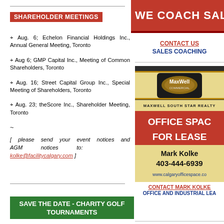SHAREHOLDER MEETINGS
+ Aug. 6; Echelon Financial Holdings Inc., Annual General Meeting, Toronto
+ Aug 6; GMP Capital Inc., Meeting of Common Shareholders, Toronto
+ Aug. 16; Street Capital Group Inc., Special Meeting of Shareholders, Toronto
+ Aug. 23; theScore Inc., Shareholder Meeting, Toronto
~
[ please send your event notices and AGM notices to: kolke@facilitycalgary.com ]
SAVE THE DATE - CHARITY GOLF TOURNAMENTS
[Figure (advertisement): WE COACH SALES banner advertisement in red]
CONTACT US SALES COACHING
[Figure (advertisement): MaxWell Commercial South Star Realty - Office Space For Lease advertisement, Mark Kolke, 403-444-6939, www.calgaryofficespace.com]
CONTACT MARK KOLKE OFFICE AND INDUSTRIAL LEASE